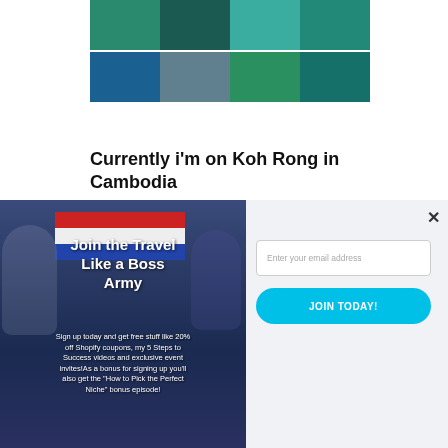[Figure (photo): Grid of underwater/ocean photos showing sea life including sharks and coral reefs in teal and blue tones]
Currently i'm on Koh Rong in Cambodia
[Figure (photo): Popup modal overlay. Left side: promotional image with people in martial arts uniforms jumping, flag stripes background, text 'Join the Travel Like a Boss Army' and sign-up description. Right side: email signup form with 'Enter your email address' input, 'JOIN TODAY!' button, and close X button.]
Join the Travel Like a Boss Army
Sign up today and get free stuff like 20% off Shopify coupons, my 5 Steps to Success videos and exclusive event invites!As a bonus for signing up you'll also get the "How to Pick the Perfect Niche" bonus episode!